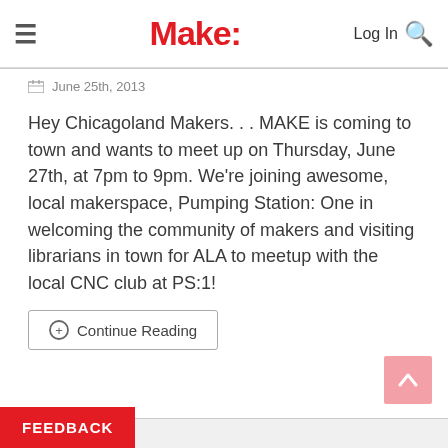Make:
June 25th, 2013
Hey Chicagoland Makers. . . MAKE is coming to town and wants to meet up on Thursday, June 27th, at 7pm to 9pm. We're joining awesome, local makerspace, Pumping Station: One in welcoming the community of makers and visiting librarians in town for ALA to meetup with the local CNC club at PS:1!
Continue Reading
FEEDBACK